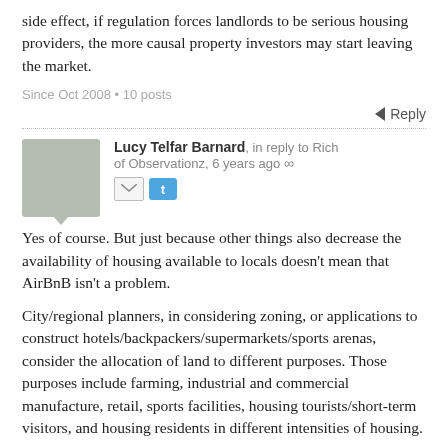side effect, if regulation forces landlords to be serious housing providers, the more causal property investors may start leaving the market.
Since Oct 2008 • 10 posts
↩ Reply
Lucy Telfar Barnard, in reply to Rich of Observationz, 6 years ago ∞
Yes of course. But just because other things also decrease the availability of housing available to locals doesn't mean that AirBnB isn't a problem.
City/regional planners, in considering zoning, or applications to construct hotels/backpackers/supermarkets/sports arenas, consider the allocation of land to different purposes. Those purposes include farming, industrial and commercial manufacture, retail, sports facilities, housing tourists/short-term visitors, and housing residents in different intensities of housing.